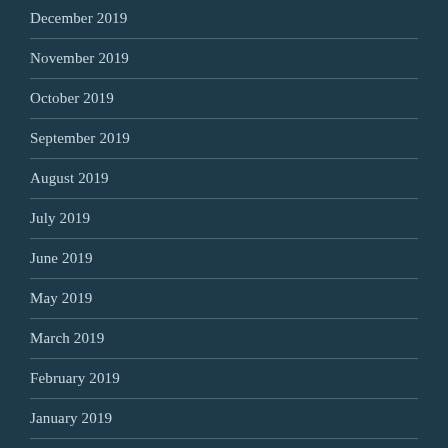December 2019
November 2019
October 2019
September 2019
August 2019
July 2019
June 2019
May 2019
March 2019
February 2019
January 2019